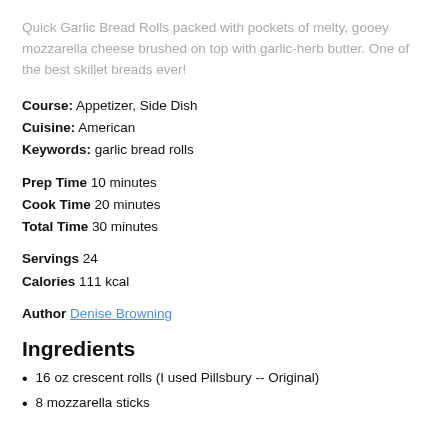Quick Garlic Bread Rolls packed with pockets of melty, gooey mozzarella cheese brushed on top with garlic-herb butter. One of the best skillet breads ever!
Course: Appetizer, Side Dish
Cuisine: American
Keywords: garlic bread rolls
Prep Time 10 minutes
Cook Time 20 minutes
Total Time 30 minutes
Servings 24
Calories 111 kcal
Author Denise Browning
Ingredients
16 oz crescent rolls (I used Pillsbury -- Original)
8 mozzarella sticks